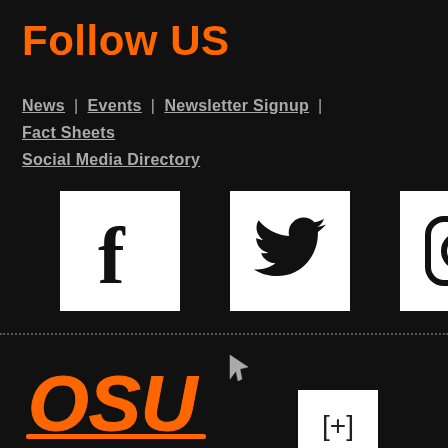Follow US
News | Events | Newsletter Signup | Fact Sheets
Social Media Directory
[Figure (logo): Facebook logo white square with black F icon]
[Figure (logo): Twitter logo white square with black bird icon]
[Figure (logo): Instagram logo white square with black camera icon]
[Figure (logo): OSU orange logo with Oklahoma State University text]
OKLAHOMA STATE UNIVER